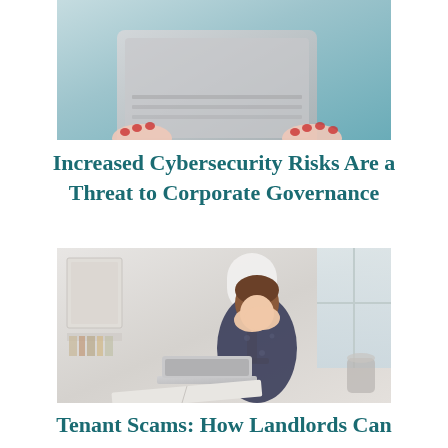[Figure (photo): Person in light blue clothing holding a laptop computer, viewed from below/side, with hands with red nail polish visible on the keyboard]
Increased Cybersecurity Risks Are a Threat to Corporate Governance
[Figure (photo): Stressed woman sitting at a desk with a laptop and open books, resting her face in her hands, with a lamp and window in the background, home office setting]
Tenant Scams: How Landlords Can Spot